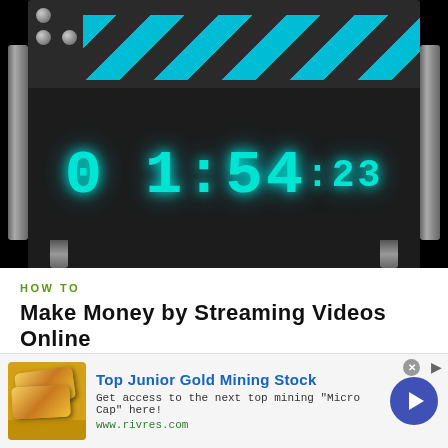[Figure (photo): Video clapperboard/slate with cyan LED digital timer showing 01:54:23 on black background]
HOW TO
Make Money by Streaming Videos Online
[Figure (photo): Partial photo of a woman in a pink top outdoors near brick wall and garage doors]
[Figure (infographic): Advertisement banner: Top Junior Gold Mining Stock - Get access to the next top mining 'Micro Cap' here! www.rivres.com with gold bars image and blue arrow button]